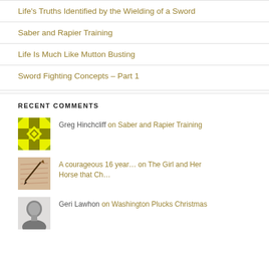Life's Truths Identified by the Wielding of a Sword
Saber and Rapier Training
Life Is Much Like Mutton Busting
Sword Fighting Concepts – Part 1
RECENT COMMENTS
Greg Hinchcliff on Saber and Rapier Training
A courageous 16 year… on The Girl and Her Horse that Ch…
Geri Lawhon on Washington Plucks Christmas